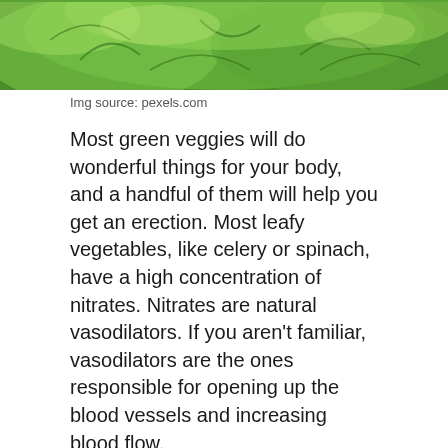[Figure (photo): Close-up photo of fresh green leafy vegetables (lettuce or similar), bright green leaves filling the frame.]
Img source: pexels.com
Most green veggies will do wonderful things for your body, and a handful of them will help you get an erection. Most leafy vegetables, like celery or spinach, have a high concentration of nitrates. Nitrates are natural vasodilators. If you aren't familiar, vasodilators are the ones responsible for opening up the blood vessels and increasing blood flow.
Most modern-day ED medications work on that same principle. For instance, Sildenafil tablets relax your blood vessels in the same way vasodilators do. This allows for the blood